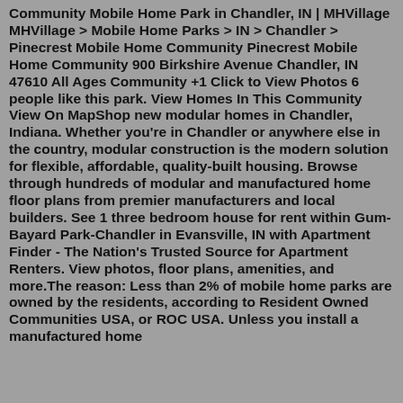Community Mobile Home Park in Chandler, IN | MHVillage MHVillage > Mobile Home Parks > IN > Chandler > Pinecrest Mobile Home Community Pinecrest Mobile Home Community 900 Birkshire Avenue Chandler, IN 47610 All Ages Community +1 Click to View Photos 6 people like this park. View Homes In This Community View On MapShop new modular homes in Chandler, Indiana. Whether you're in Chandler or anywhere else in the country, modular construction is the modern solution for flexible, affordable, quality-built housing. Browse through hundreds of modular and manufactured home floor plans from premier manufacturers and local builders. See 1 three bedroom house for rent within Gum-Bayard Park-Chandler in Evansville, IN with Apartment Finder - The Nation's Trusted Source for Apartment Renters. View photos, floor plans, amenities, and more.The reason: Less than 2% of mobile home parks are owned by the residents, according to Resident Owned Communities USA, or ROC USA. Unless you install a manufactured home